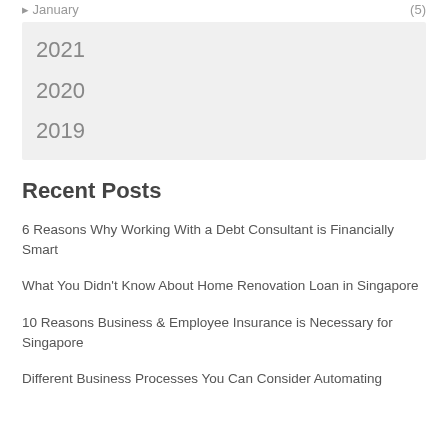January (5)
2021
2020
2019
Recent Posts
6 Reasons Why Working With a Debt Consultant is Financially Smart
What You Didn't Know About Home Renovation Loan in Singapore
10 Reasons Business & Employee Insurance is Necessary for Singapore
Different Business Processes You Can Consider Automating